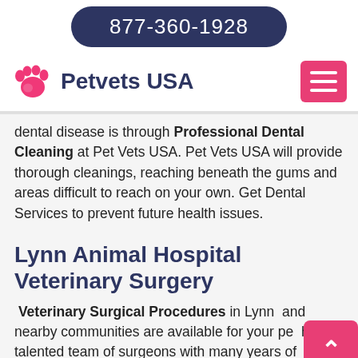877-360-1928
[Figure (logo): Petvets USA logo with pink paw print icon and dark blue text 'Petvets USA', with pink hamburger menu button on the right]
dental disease is through Professional Dental Cleaning at Pet Vets USA. Pet Vets USA will provide thorough cleanings, reaching beneath the gums and areas difficult to reach on your own. Get Dental Services to prevent future health issues.
Lynn Animal Hospital Veterinary Surgery
Veterinary Surgical Procedures in Lynn and nearby communities are available for your pe... have a talented team of surgeons with many years of experience. It can be worrisome to have